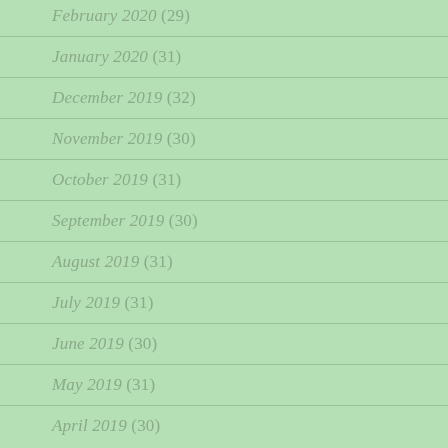February 2020 (29)
January 2020 (31)
December 2019 (32)
November 2019 (30)
October 2019 (31)
September 2019 (30)
August 2019 (31)
July 2019 (31)
June 2019 (30)
May 2019 (31)
April 2019 (30)